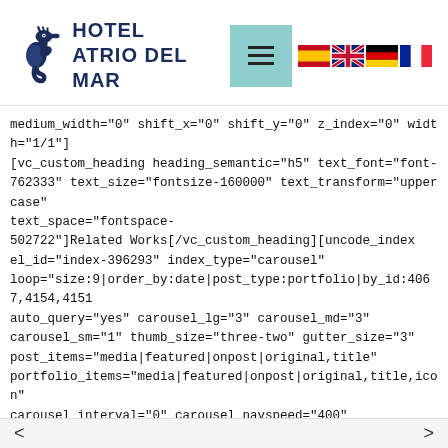[Figure (logo): Hotel Atrio Del Mar logo with seahorse icon and hotel name in navy blue, plus navigation hamburger button and four country flags (Spain, UK, Germany, France)]
medium_width="0" shift_x="0" shift_y="0" z_index="0" width="1/1"][vc_custom_heading heading_semantic="h5" text_font="font-762333" text_size="fontsize-160000" text_transform="uppercase" text_space="fontspace-502722"]Related Works[/vc_custom_heading][uncode_index el_id="index-396293" index_type="carousel" loop="size:9|order_by:date|post_type:portfolio|by_id:4067,4154,4151 auto_query="yes" carousel_lg="3" carousel_md="3" carousel_sm="1" thumb_size="three-two" gutter_size="3" post_items="media|featured|onpost|original,title" portfolio_items="media|featured|onpost|original,title,icon" carousel_interval="0" carousel_navspeed="400" carousel_dots="yes" stage_padding="0" single_overlay_color="accent" single_overlay_opacity="90" single_h_align="center" single_padding="2" single_border="yes" single_css_animation="zoom-in" single_animation_delay="200" single_icon="fa fa-plus2"][/vc_column][/vc_row]
< >